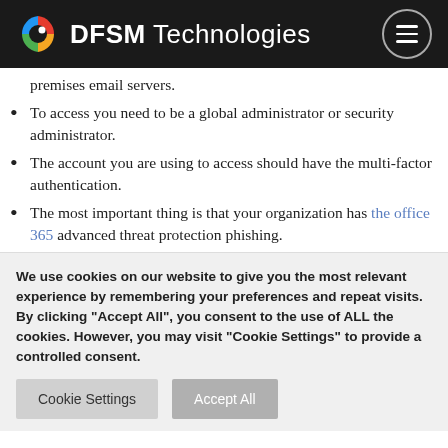DFSM Technologies
premises email servers.
To access you need to be a global administrator or security administrator.
The account you are using to access should have the multi-factor authentication.
The most important thing is that your organization has the office 365 advanced threat protection phishing.
We use cookies on our website to give you the most relevant experience by remembering your preferences and repeat visits. By clicking "Accept All", you consent to the use of ALL the cookies. However, you may visit "Cookie Settings" to provide a controlled consent.
Cookie Settings | Accept All